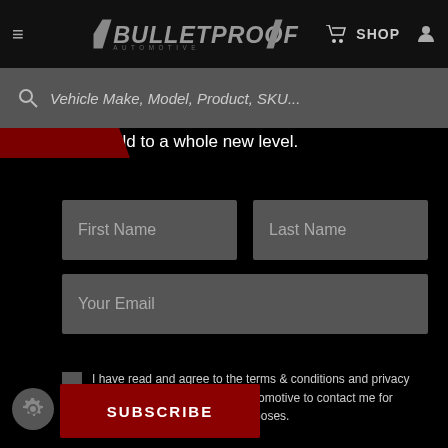Bulletproof Automotive — SHOP
Vehicle Make, Model, Product, SKU...
your build to a whole new level.
First Name
Last Name
Your Email
I have read and agree to the terms & conditions and privacy policy and allow Bulletproof Automotive to contact me for marketing, sales and other purposes.
SUBSCRIBE